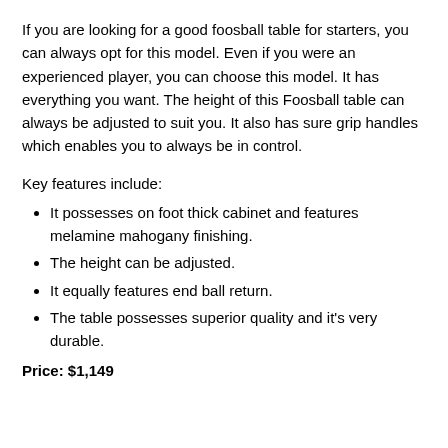If you are looking for a good foosball table for starters, you can always opt for this model. Even if you were an experienced player, you can choose this model. It has everything you want. The height of this Foosball table can always be adjusted to suit you. It also has sure grip handles which enables you to always be in control.
Key features include:
It possesses on foot thick cabinet and features melamine mahogany finishing.
The height can be adjusted.
It equally features end ball return.
The table possesses superior quality and it's very durable.
Price: $1,149